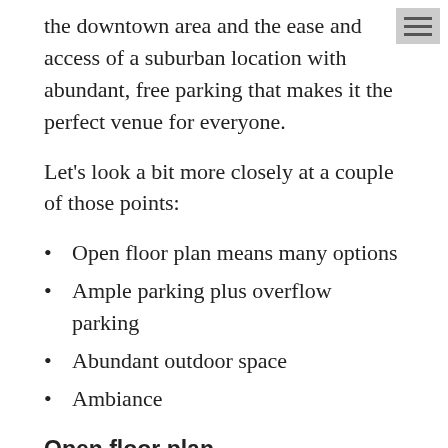the downtown area and the ease and access of a suburban location with abundant, free parking that makes it the perfect venue for everyone.
Let's look a bit more closely at a couple of those points:
Open floor plan means many options
Ample parking plus overflow parking
Abundant outdoor space
Ambiance
Open floor plan
We can handle up to 300 people, depending upon the configuration, and we